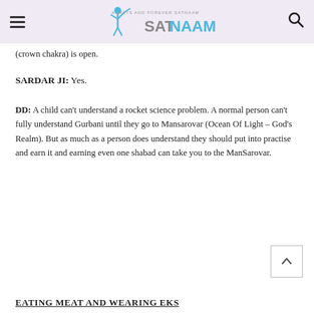ALWAYS AND FOREVER SATNAAM – SATNAAM
(crown chakra) is open.
SARDAR JI:  Yes.
DD:  A child can't understand a rocket science problem.  A normal person can't fully understand Gurbani until they go to Mansarovar (Ocean Of Light – God's Realm).  But as much as a person does understand they should put into practise and earn it and earning even one shabad can take you to the ManSarovar.
EATING MEAT AND WEARING EKS